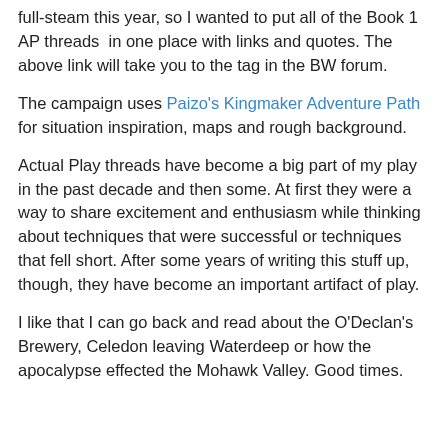full-steam this year, so I wanted to put all of the Book 1 AP threads in one place with links and quotes. The above link will take you to the tag in the BW forum.
The campaign uses Paizo's Kingmaker Adventure Path for situation inspiration, maps and rough background.
Actual Play threads have become a big part of my play in the past decade and then some. At first they were a way to share excitement and enthusiasm while thinking about techniques that were successful or techniques that fell short. After some years of writing this stuff up, though, they have become an important artifact of play.
I like that I can go back and read about the O'Declan's Brewery, Celedon leaving Waterdeep or how the apocalypse effected the Mohawk Valley. Good times.